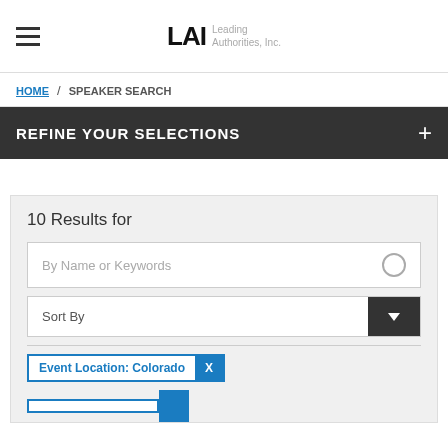[Figure (logo): LAI Leading Authorities, Inc. logo with hamburger menu icon]
HOME / SPEAKER SEARCH
REFINE YOUR SELECTIONS
10 Results for
By Name or Keywords
Sort By
Event Location: Colorado X